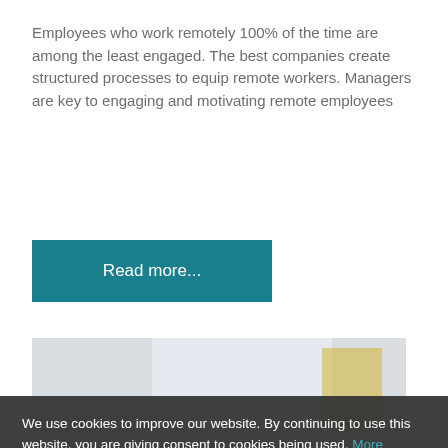Employees who work remotely 100% of the time are among the least engaged. The best companies create structured processes to equip remote workers. Managers are key to engaging and motivating remote employees
Read more...
[Figure (photo): A woman with blonde hair resting her head down on her arms on a desk next to a laptop, appearing exhausted or disengaged.]
Disappointing News About Employee Engagement from Gallup
By ... Published Reports
Workforce engagement isn't getting better, and employees are actively searching for new jobs. Check out the numbers from...
We use cookies to improve our website. By continuing to use this website, you are giving consent to cookies being used. More details